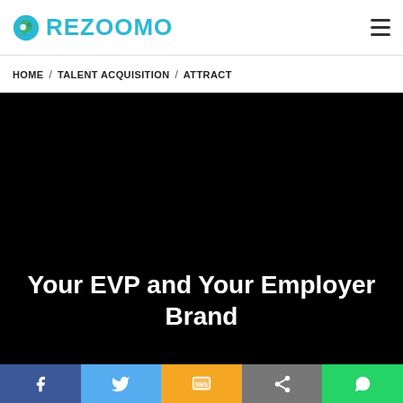REZOOMO
HOME / TALENT ACQUISITION / ATTRACT
Your EVP and Your Employer Brand
[Figure (infographic): Social sharing bar with Facebook, Twitter, SMS, Share, and WhatsApp buttons]